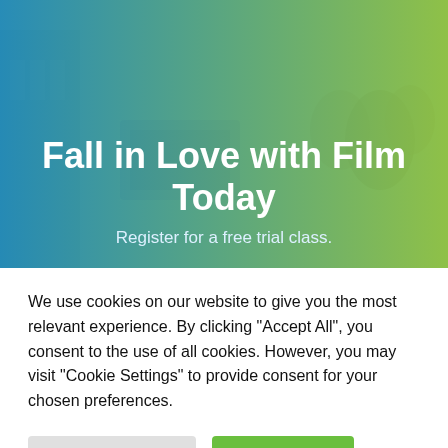[Figure (photo): Hero banner with blue-to-green gradient overlay on a photo of students or people in a film/classroom setting. Bold white text reads 'Fall in Love with Film Today' with subtitle 'Register for a free trial class.']
Fall in Love with Film Today
Register for a free trial class.
We use cookies on our website to give you the most relevant experience. By clicking "Accept All", you consent to the use of all cookies. However, you may visit "Cookie Settings" to provide consent for your chosen preferences.